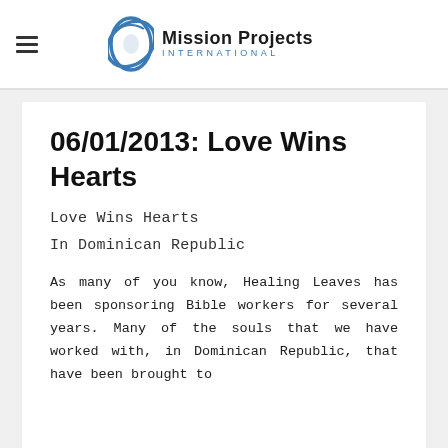Mission Projects INTERNATIONAL
06/01/2013: Love Wins Hearts
Love Wins Hearts
In Dominican Republic
As many of you know, Healing Leaves has been sponsoring Bible workers for several years. Many of the souls that we have worked with, in Dominican Republic, that have been brought to